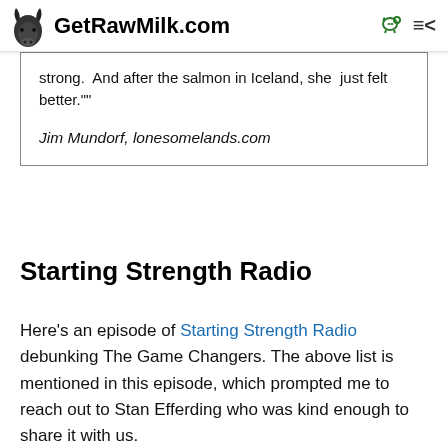GetRawMilk.com
strong.  And after the salmon in Iceland, she  just felt better.""
Jim Mundorf, lonesomelands.com
Starting Strength Radio
Here's an episode of Starting Strength Radio debunking The Game Changers. The above list is mentioned in this episode, which prompted me to reach out to Stan Efferding who was kind enough to share it with us.